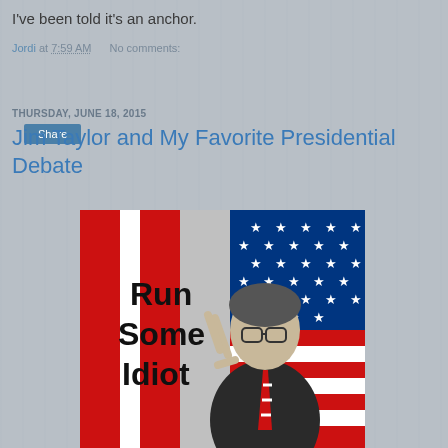I've been told it's an anchor.
Jordi at 7:59 AM   No comments:
Share
THURSDAY, JUNE 18, 2015
Jim Taylor and My Favorite Presidential Debate
[Figure (photo): Political meme image with American flag background (red, white, blue stripes and stars). A man in a suit wearing glasses and a red/white striped tie makes a peace sign. Bold text overlay reads 'Run Some Idiot'.]